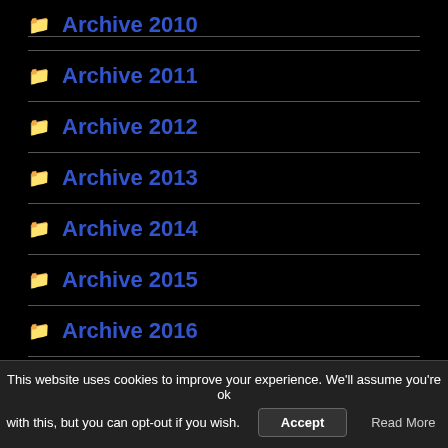Archive 2010
Archive 2011
Archive 2012
Archive 2013
Archive 2014
Archive 2015
Archive 2016
Archive 2017
This website uses cookies to improve your experience. We'll assume you're ok with this, but you can opt-out if you wish. Accept Read More